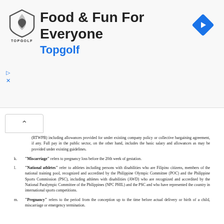[Figure (logo): Topgolf advertisement banner with shield logo, 'Food & Fun For Everyone' heading, blue 'Topgolf' subheading, and navigation diamond icon]
(RTWPB) including allowances provided for under existing company policy or collective bargaining agreement, if any. Full pay in the public sector, on the other hand, includes the basic salary and allowances as may be provided under existing guidelines.
k. "Miscarriage" refers to pregnancy loss before the 20th week of gestation.
l. "National athletes" refer to athletes including persons with disabilities who are Filipino citizens, members of the national training pool, recognized and accredited by the Philippine Olympic Committee (POC) and the Philippine Sports Commission (PSC), including athletes with disabilities (AWD) who are recognized and accredited by the National Paralympic Committee of the Philippines (NPC PHIL) and the PSC and who have represented the country in international sports competitions.
m. "Pregnancy" refers to the period from the conception up to the time before actual delivery or birth of a child, miscarriage or emergency termination.